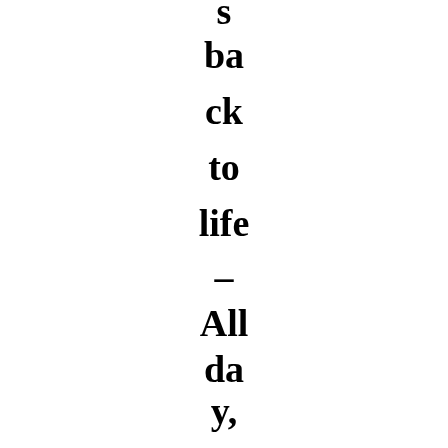s ba ck to life – All da y, eve ry da